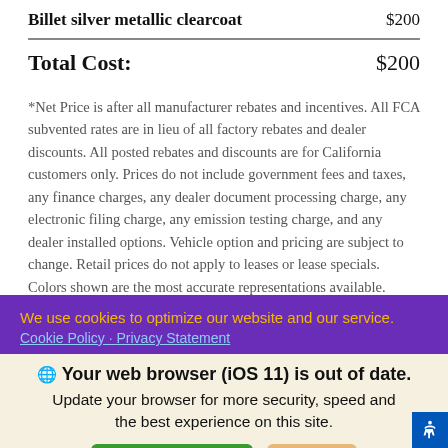| Item | Price |
| --- | --- |
| Billet silver metallic clearcoat | $200 |
| Total Cost: | $200 |
*Net Price is after all manufacturer rebates and incentives. All FCA subvented rates are in lieu of all factory rebates and dealer discounts. All posted rebates and discounts are for California customers only. Prices do not include government fees and taxes, any finance charges, any dealer document processing charge, any electronic filing charge, any emission testing charge, and any dealer installed options. Vehicle option and pricing are subject to change. Retail prices do not apply to leases or lease specials. Colors shown are the most accurate representations available. However, due to the limitations of web and monitor
We use cookies to optimize our website and our service.
Cookie Policy · Privacy Statement
Your web browser (iOS 11) is out of date. Update your browser for more security, speed and the best experience on this site.
Update browser | Ignore